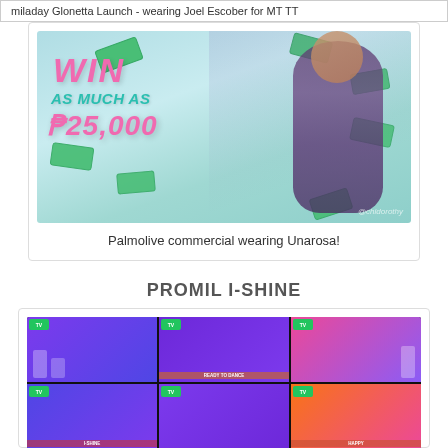miladay Glonetta Launch - wearing Joel Escober for MT TT
[Figure (photo): Palmolive commercial screenshot showing 'WIN AS MUCH AS ₱25,000' text with a woman wearing purple dress and floating money notes in the background]
Palmolive commercial wearing Unarosa!
PROMIL I-SHINE
[Figure (photo): Promil I-Shine event grid showing 6 panels of event footage with performers and audience on stage]